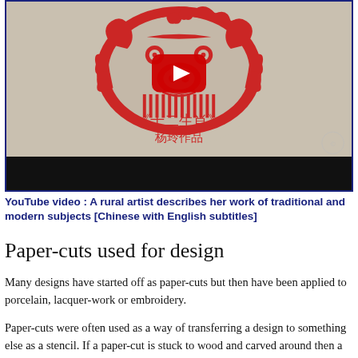[Figure (screenshot): YouTube video thumbnail showing a Chinese paper-cut artwork of a zodiac animal (pig/boar) in red ink on beige paper with Chinese characters below reading 《十二生肖》杨玲作品, with a red YouTube play button overlay and black bar at bottom.]
YouTube video : A rural artist describes her work of traditional and modern subjects [Chinese with English subtitles]
Paper-cuts used for design
Many designs have started off as paper-cuts but then have been applied to porcelain, lacquer-work or embroidery.
Paper-cuts were often used as a way of transferring a design to something else as a stencil. If a paper-cut is stuck to wood and carved around then a 'wood block' scene is created that can then be